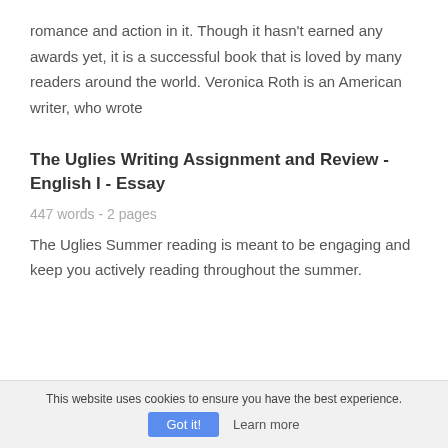romance and action in it. Though it hasn't earned any awards yet, it is a successful book that is loved by many readers around the world. Veronica Roth is an American writer, who wrote
The Uglies Writing Assignment and Review - English I - Essay
447 words - 2 pages
The Uglies Summer reading is meant to be engaging and keep you actively reading throughout the summer.
This website uses cookies to ensure you have the best experience.